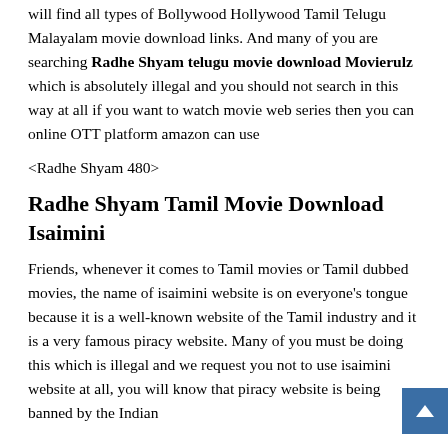will find all types of Bollywood Hollywood Tamil Telugu Malayalam movie download links. And many of you are searching Radhe Shyam telugu movie download Movierulz which is absolutely illegal and you should not search in this way at all if you want to watch movie web series then you can online OTT platform amazon can use
<Radhe Shyam 480>
Radhe Shyam Tamil Movie Download Isaimini
Friends, whenever it comes to Tamil movies or Tamil dubbed movies, the name of isaimini website is on everyone's tongue because it is a well-known website of the Tamil industry and it is a very famous piracy website. Many of you must be doing this which is illegal and we request you not to use isaimini website at all, you will know that piracy website is being banned by the Indian